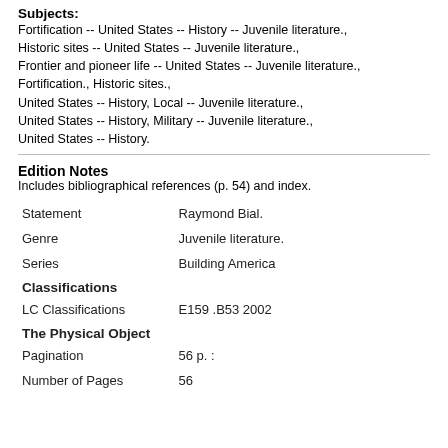Subjects:
Fortification -- United States -- History -- Juvenile literature.,
Historic sites -- United States -- Juvenile literature.,
Frontier and pioneer life -- United States -- Juvenile literature.,
Fortification., Historic sites.,
United States -- History, Local -- Juvenile literature.,
United States -- History, Military -- Juvenile literature.,
United States -- History.
Edition Notes
Includes bibliographical references (p. 54) and index.
|  |  |
| --- | --- |
| Statement | Raymond Bial. |
| Genre | Juvenile literature. |
| Series | Building America |
| Classifications |  |
| LC Classifications | E159 .B53 2002 |
| The Physical Object |  |
| Pagination | 56 p. : |
| Number of Pages | 56 |